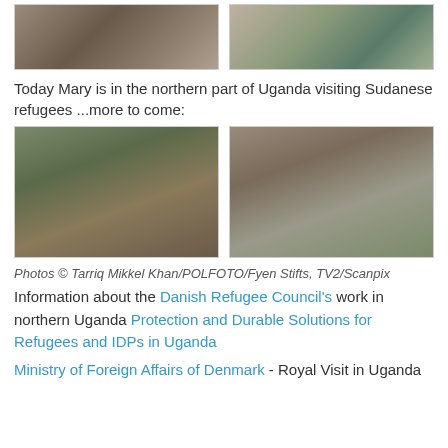[Figure (photo): Two photos side by side at top: left shows people including a woman in pink, right shows people at a table with colorful items]
Today Mary is in the northern part of Uganda visiting Sudanese refugees ...more to come:
[Figure (photo): Two photos side by side: left shows Mary crouching with African children outdoors, right shows Mary crouching near a tree with locals]
Photos © Tarriq Mikkel Khan/POLFOTO/Fyen Stifts, TV2/Scanpix
Information about the Danish Refugee Council's work in northern Uganda Protection and Durable Solutions for Refugees and IDPs in Uganda
Ministry of Foreign Affairs of Denmark - Royal Visit in Uganda